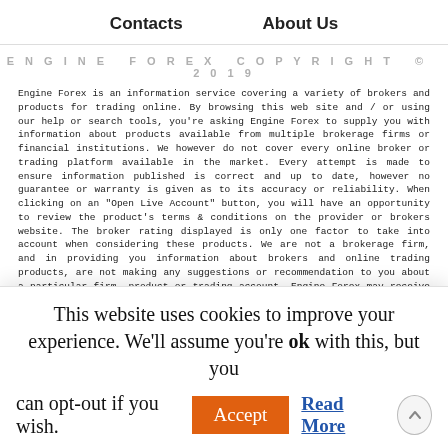Contacts   About Us
ENGINE FOREX COPYRIGHT © 2019
Engine Forex is an information service covering a variety of brokers and products for trading online. By browsing this web site and / or using our help or search tools, you're asking Engine Forex to supply you with information about products available from multiple brokerage firms or financial institutions. We however do not cover every online broker or trading platform available in the market. Every attempt is made to ensure information published is correct and up to date, however no guarantee or warranty is given as to its accuracy or reliability. When clicking on an "Open Live Account" button, you will have an opportunity to review the product's terms & conditions on the provider or brokers website. The broker rating displayed is only one factor to take into account when considering these products. We are not a brokerage firm, and in providing you information about brokers and online trading products, are not making any suggestions or recommendation to you about a particular firm, product or trading account. Engine Forex may receive a commission, referral fee or payment from a provider when you click on a link to their brokerage firm. All reviews are conducted independently. Products included on this site may not suit your personal objectives, financial situation or needs. Please consider whether it is appropriate for your circumstances, before making a
This website uses cookies to improve your experience. We'll assume you're ok with this, but you can opt-out if you wish.  Accept  Read More